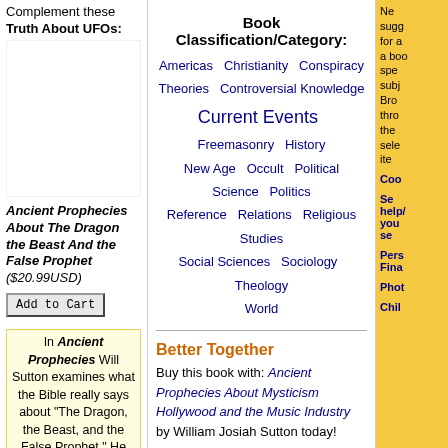Complement these Truth About UFOs:
Ancient Prophecies About The Dragon the Beast And the False Prophet ($20.99USD)
Add to Cart
In Ancient Prophecies Will Sutton examines what the Bible really says about "The Dragon, the Beast, and the False Prophet." He examines all forms of
Book Classification/Category:
Americas  Christianity  Conspiracy Theories  Controversial Knowledge  Current Events  Freemasonry  History  New Age  Occult  Political Science  Politics  Reference  Relations  Religious Studies  Social Sciences  Sociology  Theology  World
Better Together
Buy this book with: Ancient Prophecies About Mysticism Hollywood and the Music Industry by William Josiah Sutton today!
Need suggestions for a book on a specific subject? Browse through the selected items.
Coo
Se help/ you se
Pers Fina
Phot
Chil